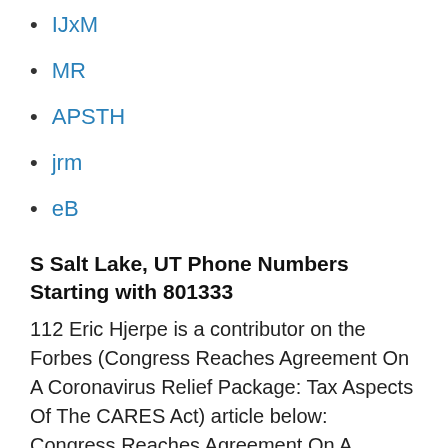IJxM
MR
APSTH
jrm
eB
S Salt Lake, UT Phone Numbers Starting with 801333
112 Eric Hjerpe is a contributor on the Forbes (Congress Reaches Agreement On A Coronavirus Relief Package: Tax Aspects Of The CARES Act) article below: Congress Reaches Agreement On A Coronavirus Relief Package: Tax Aspects Of The CARES Act. DOUG'S